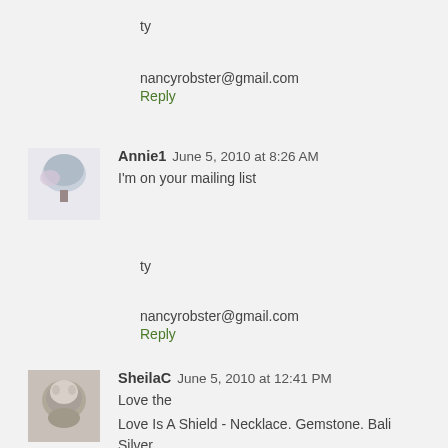ty
nancyrobster@gmail.com
Reply
Annie1   June 5, 2010 at 8:26 AM
I'm on your mailing list
ty
nancyrobster@gmail.com
Reply
SheilaC   June 5, 2010 at 12:41 PM
Love the
Love Is A Shield - Necklace. Gemstone. Bali Silver